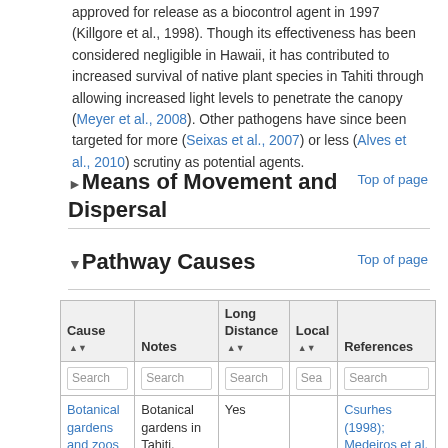approved for release as a biocontrol agent in 1997 (Killgore et al., 1998). Though its effectiveness has been considered negligible in Hawaii, it has contributed to increased survival of native plant species in Tahiti through allowing increased light levels to penetrate the canopy (Meyer et al., 2008). Other pathogens have since been targeted for more (Seixas et al., 2007) or less (Alves et al., 2010) scrutiny as potential agents.
Means of Movement and Dispersal
Pathway Causes
| Cause | Notes | Long Distance | Local | References |
| --- | --- | --- | --- | --- |
| Botanical gardens and zoos | Botanical gardens in Tahiti, Hawaii and Australia | Yes |  | Csurhes (1998); Medeiros et al. (1997); Meyer |